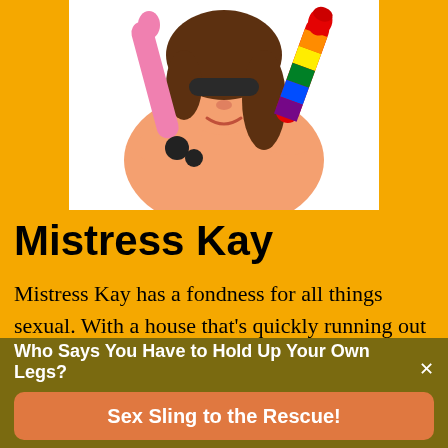[Figure (illustration): Cartoon illustration of a woman with brown hair hugging a pink dildo and a rainbow pride-colored sex toy, wearing black accessories, on white background]
Mistress Kay
Mistress Kay has a fondness for all things sexual. With a house that's quickly running out of room for all of her reading and vibrating pleasures, she spends her free time reading, writing, and learning about the sexual universe with her partners. She can be
Who Says You Have to Hold Up Your Own Legs?
Sex Sling to the Rescue!